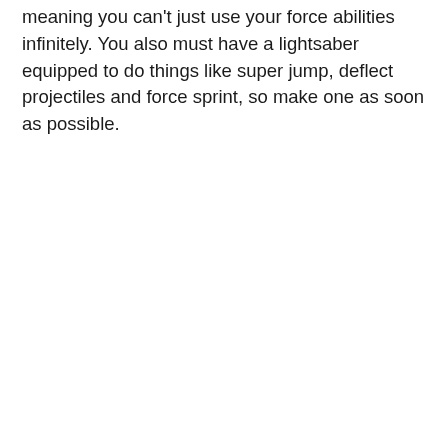meaning you can't just use your force abilities infinitely. You also must have a lightsaber equipped to do things like super jump, deflect projectiles and force sprint, so make one as soon as possible.